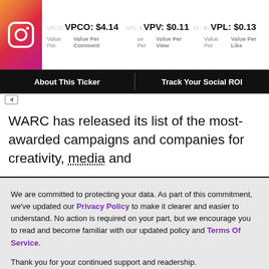VPCO: $4.14 | VPV: $0.11 | VPL: $0.13 | Value Per Comment | Value Per View | Value Per Like
About This Ticker | Track Your Social ROI
WARC has released its list of the most-awarded campaigns and companies for creativity, media and
We are committed to protecting your data. As part of this commitment, we've updated our Privacy Policy to make it clearer and easier to understand. No action is required on your part, but we encourage you to read and become familiar with our updated policy and Terms Of Service.
Thank you for your continued support and readership.
-The AList Team
ACCEPT